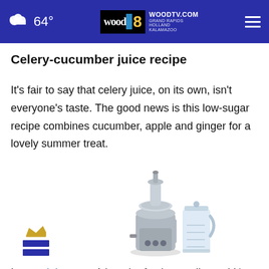64° WOODTV.COM GRAND RAPIDS HOLLAND KALAMAZOO
Celery-cucumber juice recipe
It's fair to say that celery juice, on its own, isn't everyone's taste. The good news is this low-sugar recipe combines cucumber, apple and ginger for a lovely summer treat.
[Figure (photo): A stainless steel juicer machine with a separate plastic measuring cup/jug beside it, on a white background.]
In your juicer, put 1 bunch of celery stalks and ½